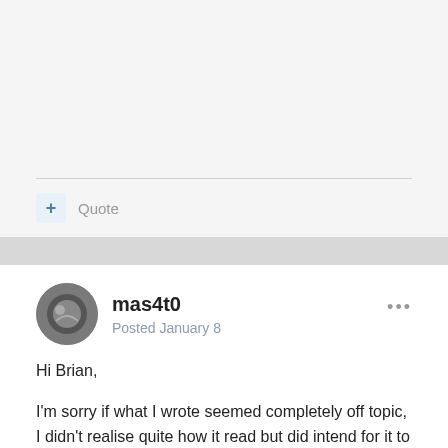Quote
mas4t0
Posted January 8
Hi Brian,
I'm sorry if what I wrote seemed completely off topic, I didn't realise quite how it read but did intend for it to be applicable.
I do see a clear difference in quality between the statue in the first post and one further down in Alex's collection. The difference is in the chasing, so may not be immediately apparent